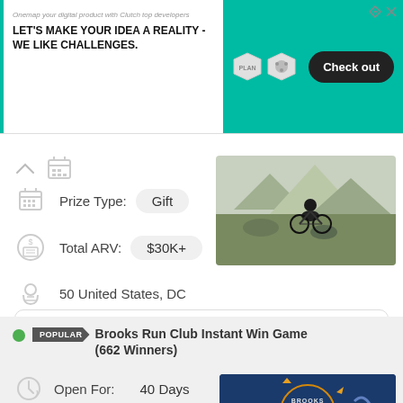[Figure (screenshot): Advertisement banner: 'LET'S MAKE YOUR IDEA A REALITY - WE LIKE CHALLENGES.' with Check out button on teal background]
Prize Type:
Gift
Total ARV:
$30K+
50 United States, DC
Add To Favorite
[Figure (photo): Mountain biker riding on rocky terrain with mountains in background]
Brooks Run Club Instant Win Game (662 Winners)
Open For:
40 Days
Entry Type:
daily
[Figure (logo): Brooks Run Club logo on dark blue background with runners silhouette]